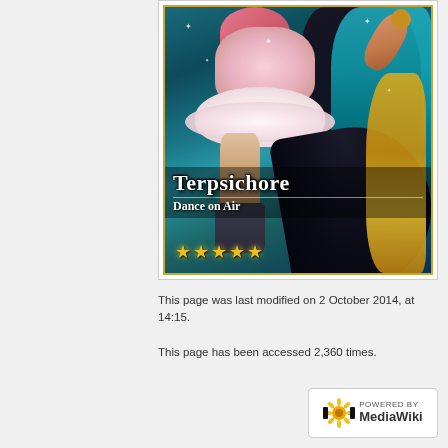[Figure (illustration): Fantasy card art showing Terpsichore character in a pink/white ruffled dress with dark flowing skirt, dancing pose, with teal fabric and gold vine decorations. Card title reads 'Terpsichore' with subtitle 'Dance on Air' and five gold stars rating.]
This page was last modified on 2 October 2014, at 14:15.
This page has been accessed 2,360 times.
About the Unofficial Fantasica Wiki
[Figure (logo): Powered by MediaWiki badge with sunflower logo]